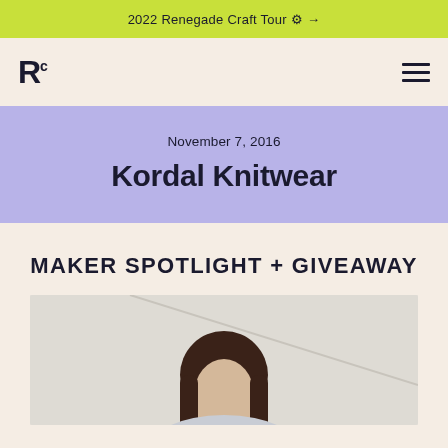2022 Renegade Craft Tour ⚙ →
[Figure (logo): Rc logo (Renegade Craft) in bold black lettering with superscript c]
November 7, 2016
Kordal Knitwear
MAKER SPOTLIGHT + GIVEAWAY
[Figure (photo): Photo of a woman with long dark hair in front of a white brick wall, partially visible from shoulders up]